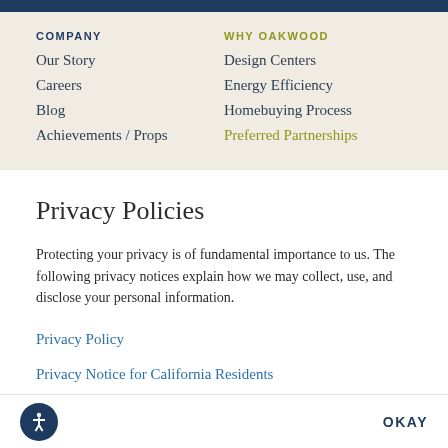COMPANY | WHY OAKWOOD
Our Story
Careers
Blog
Achievements / Props
Design Centers
Energy Efficiency
Homebuying Process
Preferred Partnerships
Privacy Policies
Protecting your privacy is of fundamental importance to us. The following privacy notices explain how we may collect, use, and disclose your personal information.
Privacy Policy
Privacy Notice for California Residents
OKAY